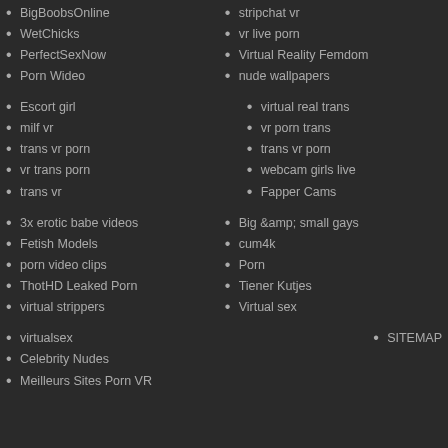BigBoobsOnline
WetChicks
PerfectSexNow
Porn Wideo
Escort girl
milf vr
trans vr porn
vr trans porn
trans vr
3x erotic babe videos
Fetish Models
porn video clips
ThotHD Leaked Porn
virtual strippers
virtualsex
Celebrity Nudes
Meilleurs Sites Porn VR
stripchat vr
vr live porn
Virtual Reality Femdom
nude wallpapers
virtual real trans
vr porn trans
trans vr porn
webcam girls live
Fapper Cams
Big &amp; small gays
cum4k
Porn
Tiener Kutjes
Virtual sex
SITEMAP